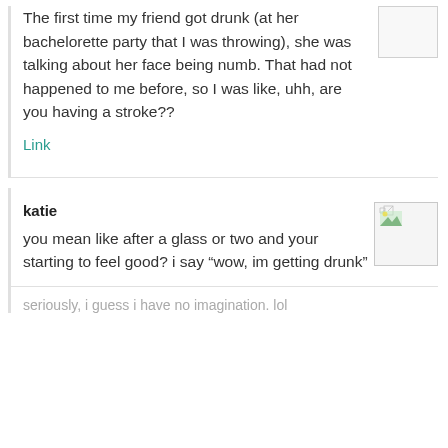The first time my friend got drunk (at her bachelorette party that I was throwing), she was talking about her face being numb. That had not happened to me before, so I was like, uhh, are you having a stroke??
Link
katie
you mean like after a glass or two and your starting to feel good? i say “wow, im getting drunk”
seriously, i guess i have no imagination. lol